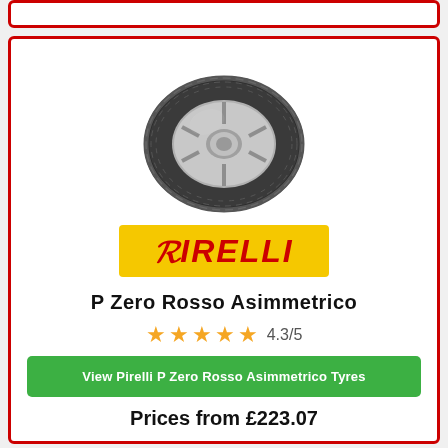[Figure (photo): Pirelli P Zero Rosso Asimmetrico tyre on an alloy wheel, viewed from a slight angle]
[Figure (logo): Pirelli logo on yellow background with red italic PIRELLI text]
P Zero Rosso Asimmetrico
4.3/5 (4 and a half stars rating)
View Pirelli P Zero Rosso Asimmetrico Tyres
Prices from £223.07